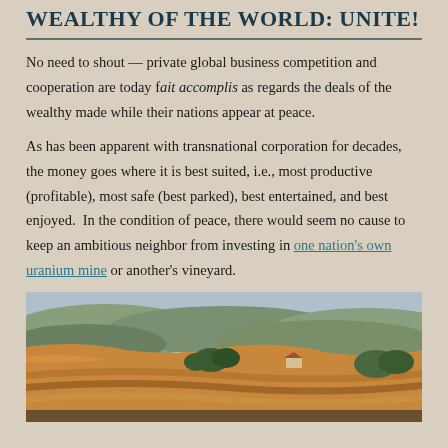Wealthy of the World: Unite!
No need to shout — private global business competition and cooperation are today fait accomplis as regards the deals of the wealthy made while their nations appear at peace.
As has been apparent with transnational corporation for decades, the money goes where it is best suited, i.e., most productive (profitable), most safe (best parked), best entertained, and best enjoyed. In the condition of peace, there would seem no cause to keep an ambitious neighbor from investing in one nation's own uranium mine or another's vineyard.
[Figure (photo): Aerial view of rolling countryside with vineyards, fields, farmhouses and forested hills in autumn colors]